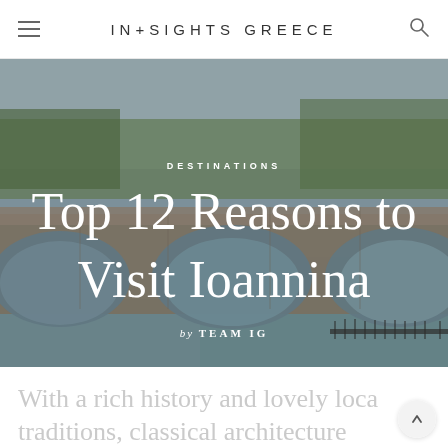IN+SIGHTS GREECE
[Figure (photo): A stone arch bridge over a river in Ioannina, Greece, with trees and greenery in the background, used as hero image background]
DESTINATIONS
Top 12 Reasons to Visit Ioannina
by TEAM IG
With a rich history and lovely local traditions, classical architecture